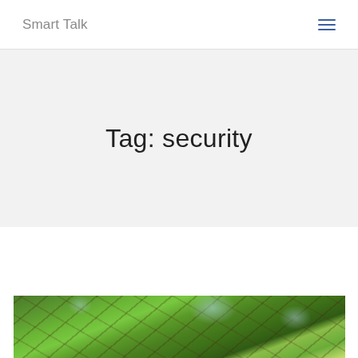Smart Talk
Tag: security
[Figure (photo): Looking up through leafy green tree canopy with branches visible against a light sky]